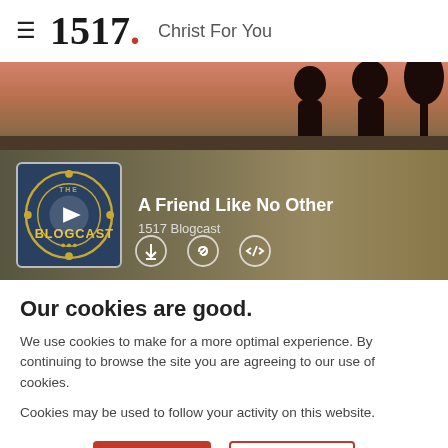≡ 1517. Christ For You
[Figure (photo): Sunset silhouette of two people against an orange-pink sky]
[Figure (illustration): Podcast player banner with The Blogcast logo (circular gold emblem on blue background with play button), title 'A Friend Like No Other', subtitle '1517 Blogcast', and download/link/embed icons]
Our cookies are good.
We use cookies to make for a more optimal experience. By continuing to browse the site you are agreeing to our use of cookies.
Cookies may be used to follow your activity on this website.
Accept  Decline